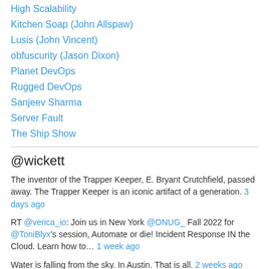High Scalability
Kitchen Soap (John Allspaw)
Lusis (John Vincent)
obfuscurity (Jason Dixon)
Planet DevOps
Rugged DevOps
Sanjeev Sharma
Server Fault
The Ship Show
@wickett
The inventor of the Trapper Keeper, E. Bryant Crutchfield, passed away. The Trapper Keeper is an iconic artifact of a generation. 3 days ago
RT @verica_io: Join us in New York @ONUG_ Fall 2022 for @ToniBlyx's session, Automate or die! Incident Response IN the Cloud. Learn how to… 1 week ago
Water is falling from the sky. In Austin. That is all. 2 weeks ago